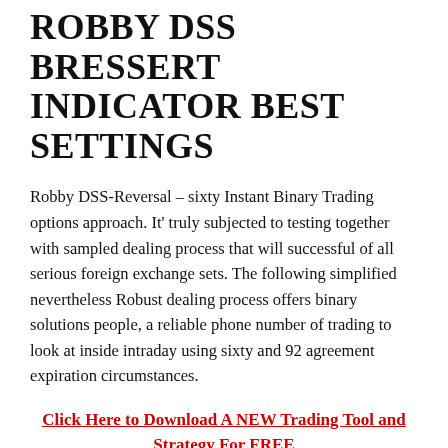ROBBY DSS BRESSERT INDICATOR BEST SETTINGS
Robby DSS-Reversal – sixty Instant Binary Trading options approach. It' truly subjected to testing together with sampled dealing process that will successful of all serious foreign exchange sets. The following simplified nevertheless Robust dealing process offers binary solutions people, a reliable phone number of trading to look at inside intraday using sixty and 92 agreement expiration circumstances.
Click Here to Download A NEW Trading Tool and Strategy For FREE
That's well suited for?